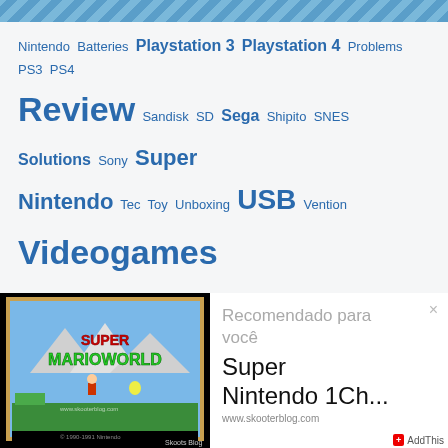Nintendo Batteries Playstation 3 Playstation 4 Problems PS3 PS4 Review Sandisk SD Sega Shipito SNES Solutions Sony Super Nintendo Tec Toy Unboxing USB Vention Videogames
ADVERTISING
VERSE
"Exalta-te sobre os céus, ó Deus, e a tua glória sobre toda a terra." (Sl 108:5)
[Figure (screenshot): Screenshot of Super Mario World game title screen with Mario character, mountains, and green hills. Watermark: www.skooterblog.com and Skoots Blog]
Recomendado para você
Super Nintendo 1Ch...
www.skooterblog.com